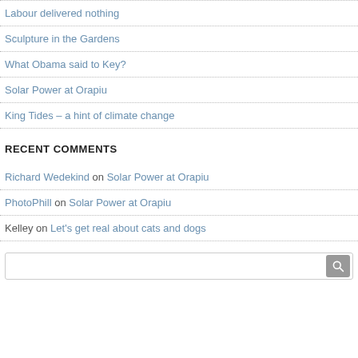Labour delivered nothing
Sculpture in the Gardens
What Obama said to Key?
Solar Power at Orapiu
King Tides – a hint of climate change
RECENT COMMENTS
Richard Wedekind on Solar Power at Orapiu
PhotoPhill on Solar Power at Orapiu
Kelley on Let's get real about cats and dogs